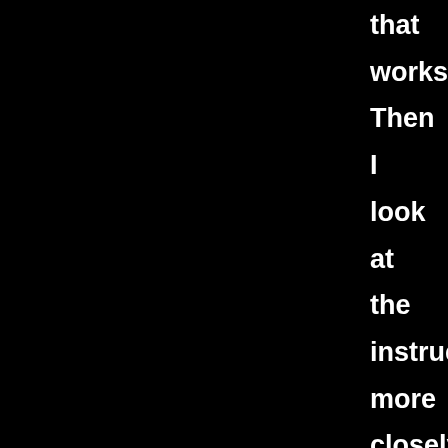that
works.
Then
I
look
at
the
instruction
more
closely,
it
looked
like
a
playstation
button
X
or
something.

Black
Textures